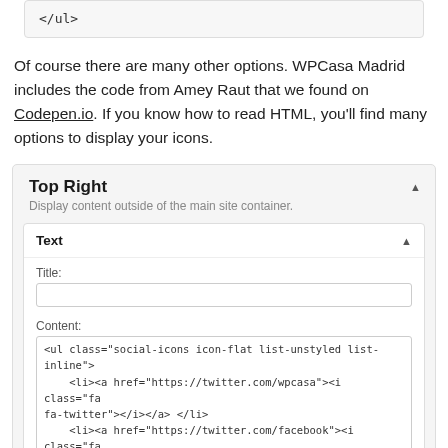[Figure (screenshot): Code snippet box showing </ul> closing tag in monospace font on light gray background]
Of course there are many other options. WPCasa Madrid includes the code from Amey Raut that we found on Codepen.io. If you know how to read HTML, you'll find many options to display your icons.
[Figure (screenshot): WordPress widget panel showing 'Top Right' section with subtitle 'Display content outside of the main site container.' and inner 'Text' widget with Title field (empty) and Content field showing HTML code: <ul class="social-icons icon-flat list-unstyled list-inline"> <li><a href="https://twitter.com/wpcasa"><i class="fa fa-twitter"></i></a> </li> <li><a href="https://twitter.com/facebook"><i class="fa fa-facebook"></i></a></li>]